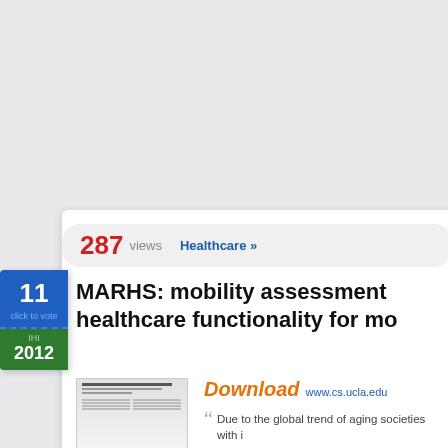287 views   Healthcare »
MARHS: mobility assessment healthcare functionality for mo...
[Figure (screenshot): Thumbnail preview of a healthcare functionality document paper]
Download www.cs.ucla.edu
Due to the global trend of aging societies with i...